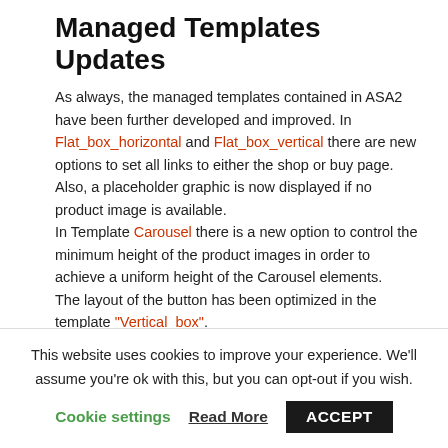Managed Templates Updates
As always, the managed templates contained in ASA2 have been further developed and improved. In Flat_box_horizontal and Flat_box_vertical there are new options to set all links to either the shop or buy page. Also, a placeholder graphic is now displayed if no product image is available.
In Template Carousel there is a new option to control the minimum height of the product images in order to achieve a uniform height of the Carousel elements.
The layout of the button has been optimized in the template “Vertical_box”.
Smaller layout fixes were made in almost all managed
This website uses cookies to improve your experience. We'll assume you're ok with this, but you can opt-out if you wish.
Cookie settings   Read More   ACCEPT